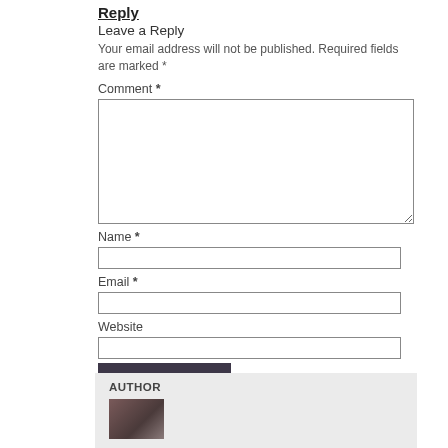Reply
Leave a Reply
Your email address will not be published. Required fields are marked *
Comment *
Name *
Email *
Website
Post Comment
Notify me of new comments via email.
Notify me of new posts via email.
AUTHOR